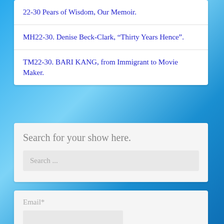22-30 Pears of Wisdom, Our Memoir.
MH22-30. Denise Beck-Clark, “Thirty Years Hence”.
TM22-30. BARI KANG, from Immigrant to Movie Maker.
Search for your show here.
Search ...
Email*